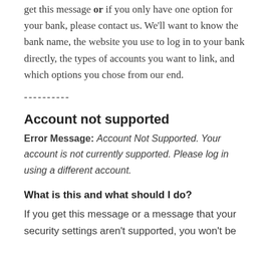get this message or if you only have one option for your bank, please contact us. We'll want to know the bank name, the website you use to log in to your bank directly, the types of accounts you want to link, and which options you chose from our end.
----------
Account not supported
Error Message: Account Not Supported. Your account is not currently supported. Please log in using a different account.
What is this and what should I do?
If you get this message or a message that your security settings aren't supported, you won't be